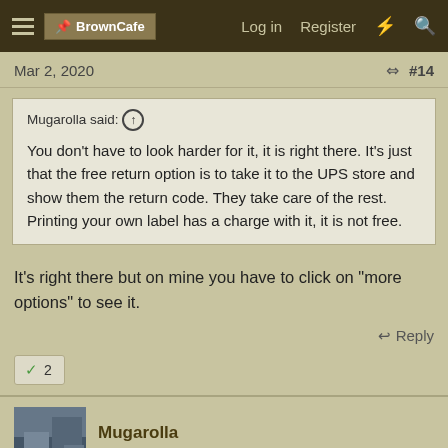BrownCafe | Log in | Register
Mar 2, 2020  #14
Mugarolla said: ↑
You don't have to look harder for it, it is right there. It's just that the free return option is to take it to the UPS store and show them the return code. They take care of the rest. Printing your own label has a charge with it, it is not free.
It's right there but on mine you have to click on "more options" to see it.
Reply
✓ 2
Mugarolla
Light 'em up!